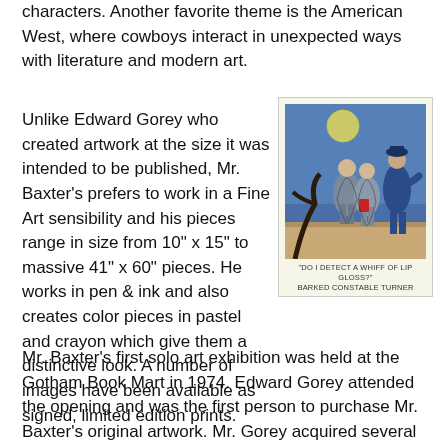characters. Another favorite theme is the American West, where cowboys interact in unexpected ways with literature and modern art.
Unlike Edward Gorey who created artwork at the size it was intended to be published, Mr. Baxter's prefers to work in a Fine Art sensibility and his pieces range in size from 10" x 15" to massive 41" x 60" pieces. He works in pen & ink and also creates color pieces in pastel and crayon which give them a distinctive look. A number of images have been available as signed, limited edition prints.
[Figure (illustration): Color illustration showing two figures in coats and a police constable standing outdoors at night with a moon visible, with a caption reading: "DO I DETECT A WHIFF OF LIP GLOSS?" BARKED CONSTABLE TURNER]
"DO I DETECT A WHIFF OF LIP GLOSS?" BARKED CONSTABLE TURNER
Mr. Baxter's first solo art exhibition was held at the Gotham Book Mart in 1974. Edward Gorey attended the opening and was the first person to purchase Mr. Baxter's original artwork. Mr. Gorey acquired several originals at the GBM show and these remained in his personal art collection for the rest of